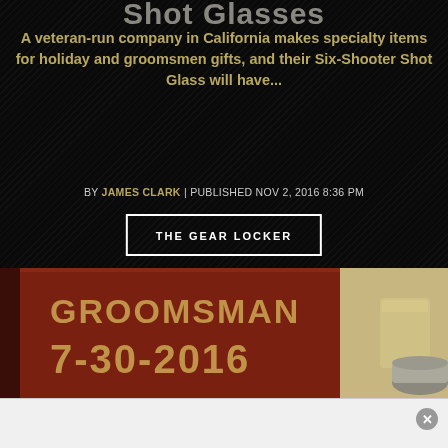Shot Glasses
A veteran-run company in California makes specialty items for holiday and groomsmen gifts, and their Six-Shooter Shot Glass will have...
BY JAMES CLARK | PUBLISHED NOV 2, 2016 8:36 PM
THE GEAR LOCKER
[Figure (photo): A dark red wooden box engraved with 'GROOMSMAN 7-30-2016' with a shot glass visible in the background on a burlap surface]
[Figure (other): Advertisement placeholder with a close (X) button]